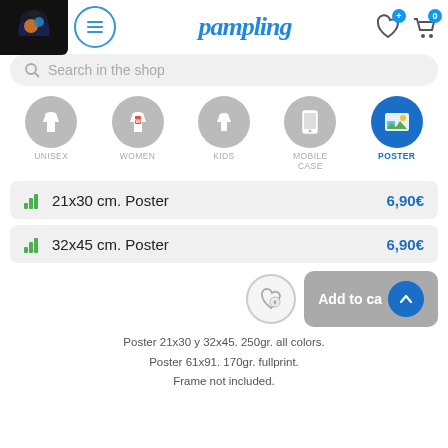[Figure (screenshot): Product thumbnail - dark t-shirt with colorful design]
pampling
Search in the shop
[Figure (infographic): Category icons: UNISEX, WOMEN, KIDS, MOBILE CASE, POSTER (active)]
21x30 cm. Poster   6,90€
32x45 cm. Poster   6,90€
Add to cart
Poster 21x30 y 32x45. 250gr. all colors.
Poster 61x91. 170gr. fullprint.
Frame not included.